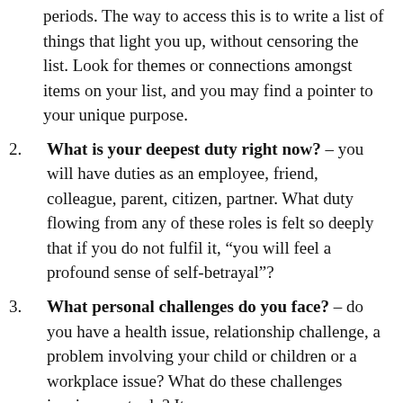(continuation) periods. The way to access this is to write a list of things that light you up, without censoring the list. Look for themes or connections amongst items on your list, and you may find a pointer to your unique purpose.
2. What is your deepest duty right now? – you will have duties as an employee, friend, colleague, parent, citizen, partner. What duty flowing from any of these roles is felt so deeply that if you do not fulfil it, “you will feel a profound sense of self-betrayal”?
3. What personal challenges do you face? – do you have a health issue, relationship challenge, a problem involving your child or children or a workplace issue? What do these challenges inspire you to do? It may